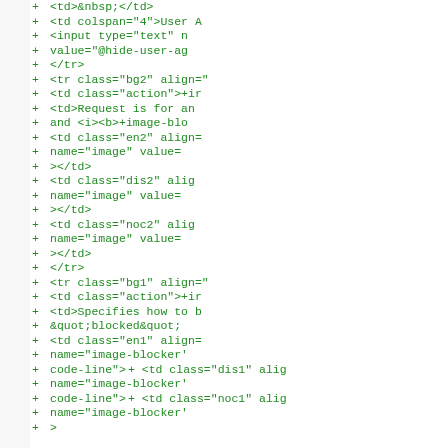[Figure (screenshot): Diff view of HTML/template code showing added lines (green, prefixed with +) including HTML table row elements with various class attributes like bg1, bg2, action, en1, en2, dis1, dis2, noc1, noc2, and input elements with name='image', name='image-blocker', onclick='show_more()' attributes. The left panel is light gray and the right panel shows the green diff code on white background.]